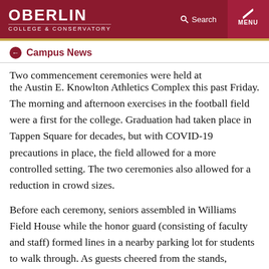OBERLIN COLLEGE & CONSERVATORY | Search | MENU
Campus News
Two commencement ceremonies were held at the Austin E. Knowlton Athletics Complex this past Friday. The morning and afternoon exercises in the football field were a first for the college. Graduation had taken place in Tappen Square for decades, but with COVID-19 precautions in place, the field allowed for a more controlled setting. The two ceremonies also allowed for a reduction in crowd sizes.
Before each ceremony, seniors assembled in Williams Field House while the honor guard (consisting of faculty and staff) formed lines in a nearby parking lot for students to walk through. As guests cheered from the stands, graduating